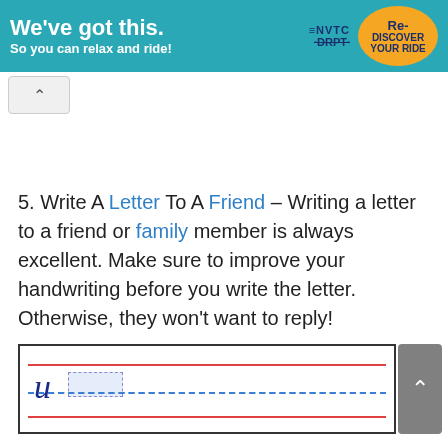[Figure (screenshot): Advertisement banner: teal background with text 'We've got this. So you can relax and ride!' with NVTC DRPT Re-Discover Your Ride badge on the right]
5. Write A Letter To A Friend – Writing a letter to a friend or family member is always excellent. Make sure to improve your handwriting before you write the letter. Otherwise, they won't want to reply!
[Figure (illustration): Handwriting practice box showing a cursive lowercase 'u' with red baseline and top lines and blue dashed midline]